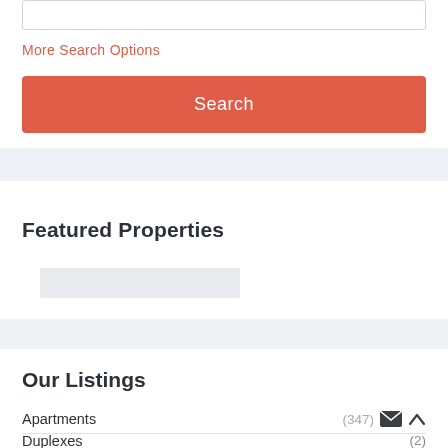ID
More Search Options
Search
Featured Properties
Our Listings
Apartments (347)
Duplexes (2)